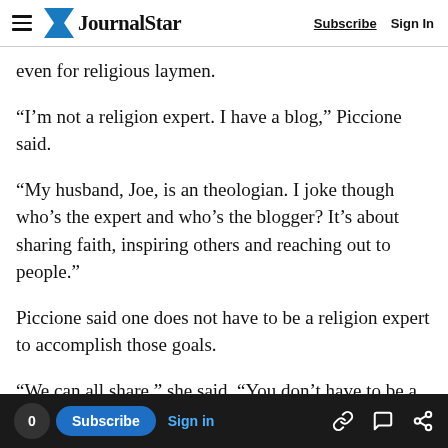Journal Star | Subscribe | Sign In
even for religious laymen.
“I’m not a religion expert. I have a blog,” Piccione said.
“My husband, Joe, is an theologian. I joke though who’s the expert and who’s the blogger? It’s about sharing faith, inspiring others and reaching out to people.”
Piccione said one does not have to be a religion expert to accomplish those goals.
“We can all share,” she said. “You don’t have to be a reporter to be a good blogger. You just have to be
0 | Subscribe | Sign in